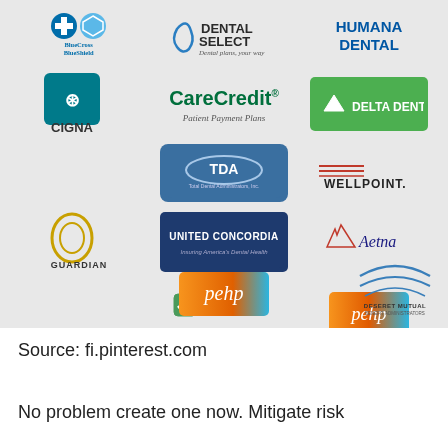[Figure (other): Grid of insurance company logos including BlueCross BlueShield, DentalSelect, Humana Dental, CareCredit, Delta Dental, CIGNA, TDA, WellPoint, United Concordia, Aetna, Guardian, Deseret Mutual, SelectHealth, PEHP]
Source: fi.pinterest.com
No problem create one now. Mitigate risk